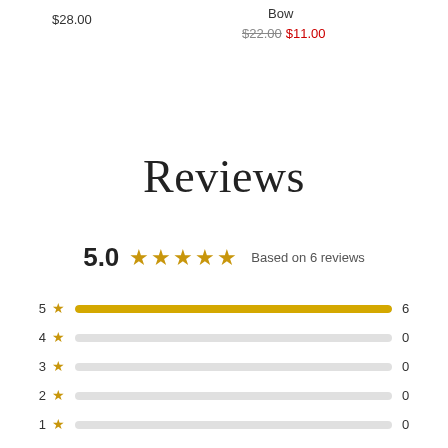$28.00
Bow
$22.00 $11.00
Reviews
5.0 ★★★★★ Based on 6 reviews
[Figure (bar-chart): Rating distribution]